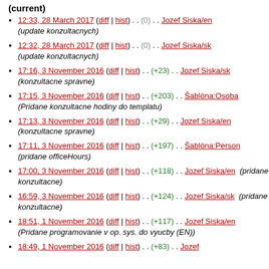(current)
12:33, 28 March 2017 (diff | hist) . . (0) . . Jozef Siska/en (update konzultacnych)
12:32, 28 March 2017 (diff | hist) . . (0) . . Jozef Siska/sk (update konzultacnych)
17:16, 3 November 2016 (diff | hist) . . (+23) . . Jozef Siska/sk (konzultacne spravne)
17:15, 3 November 2016 (diff | hist) . . (+203) . . Šablóna:Osoba (Pridane konzultacne hodiny do templatu)
17:13, 3 November 2016 (diff | hist) . . (+29) . . Jozef Siska/en (konzultacne spravne)
17:11, 3 November 2016 (diff | hist) . . (+197) . . Šablóna:Person (pridane officeHours)
17:00, 3 November 2016 (diff | hist) . . (+118) . . Jozef Siska/en (pridane konzultacne)
16:59, 3 November 2016 (diff | hist) . . (+124) . . Jozef Siska/sk (pridane konzultacne)
18:51, 1 November 2016 (diff | hist) . . (+117) . . Jozef Siska/en (Pridane programovanie v op. sys. do vyucby (EN))
18:49, 1 November 2016 (diff | hist) . . (+83) . . Jozef